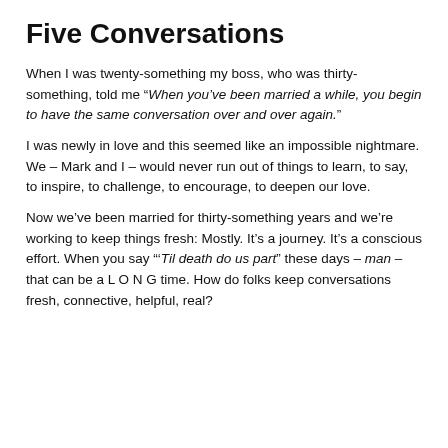Five Conversations
When I was twenty-something my boss, who was thirty-something, told me “When you’ve been married a while, you begin to have the same conversation over and over again.”
I was newly in love and this seemed like an impossible nightmare. We – Mark and I – would never run out of things to learn, to say, to inspire, to challenge, to encourage, to deepen our love.
Now we’ve been married for thirty-something years and we’re working to keep things fresh: Mostly. It’s a journey. It’s a conscious effort. When you say “‘Til death do us part” these days – man – that can be a L O N G time. How do folks keep conversations fresh, connective, helpful, real?